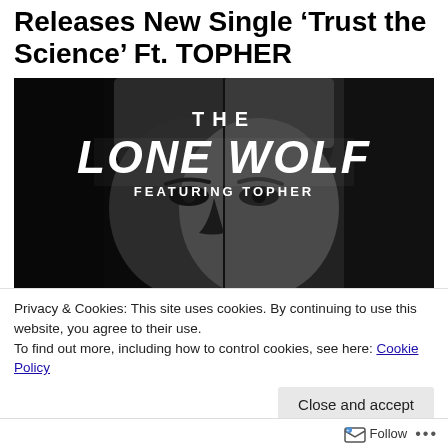Releases New Single ‘Trust the Science’ Ft. TOPHER
[Figure (illustration): Black and white album art for 'The Lone Wolf' featuring Topher. Shows a close-up of a man's face wearing a beanie hat, split lighting effect. Text overlay reads 'THE LONE WOLF FEATURING TOPHER' in grunge/brush lettering.]
Privacy & Cookies: This site uses cookies. By continuing to use this website, you agree to their use.
To find out more, including how to control cookies, see here: Cookie Policy
Close and accept
Follow